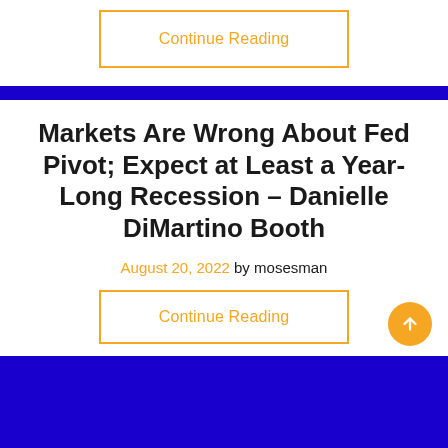Continue Reading
Markets Are Wrong About Fed Pivot; Expect at Least a Year-Long Recession – Danielle DiMartino Booth
August 20, 2022 by mosesman
Continue Reading